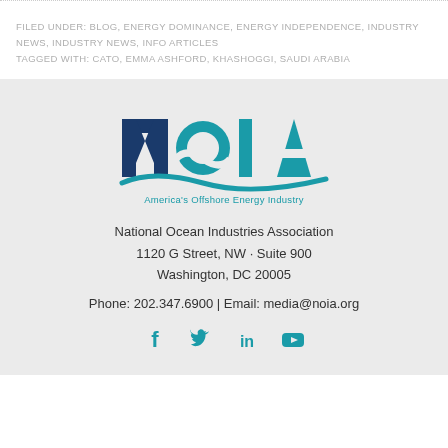FILED UNDER: BLOG, ENERGY DOMINANCE, ENERGY INDEPENDENCE, INDUSTRY NEWS, INDUSTRY NEWS, INFO ARTICLES TAGGED WITH: CATO, EMMA ASHFORD, KHASHOGGI, SAUDI ARABIA
[Figure (logo): NOIA logo with text 'America's Offshore Energy Industry']
National Ocean Industries Association
1120 G Street, NW · Suite 900
Washington, DC 20005
Phone: 202.347.6900 | Email: media@noia.org
[Figure (other): Social media icons: Facebook, Twitter, LinkedIn, YouTube]